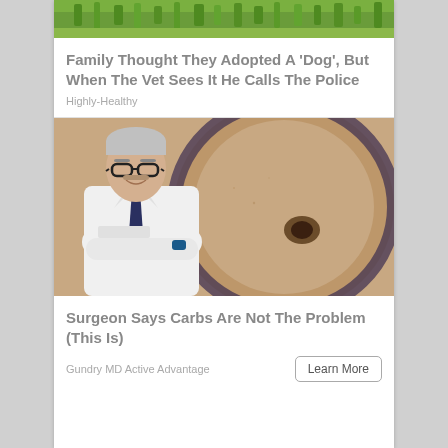[Figure (photo): Partial image of grass/outdoor scene, top of first article card]
Family Thought They Adopted A 'Dog', But When The Vet Sees It He Calls The Police
Highly-Healthy
[Figure (photo): Doctor in white lab coat with arms crossed, overlaid on close-up image of a belly button/navel]
Surgeon Says Carbs Are Not The Problem (This Is)
Gundry MD Active Advantage
Learn More